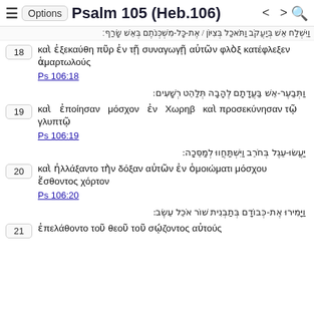≡ Options Psalm 105 (Heb.106) < > 🔍
וַיְהִי אֵשׁ בַּעֲדָתָם לֶהָבָה תְּלַהֵט רְשָׁעִים:
18 καὶ ἐξεκαύθη πῦρ ἐν τῇ συναγωγῇ αὐτῶν φλὸξ κατέφλεξεν ἁμαρτωλούς
Ps 106:18
וַתְּבַעֶר-אֵשׁ בַּעֲדָתָם לֶהָבָה תְּלַהֵט רְשָׁעִים:
19 καὶ ἐποίησαν μόσχον ἐν Χωρηβ καὶ προσεκύνησαν τῷ γλυπτῷ
Ps 106:19
יַעֲשׂוּ-עֵגֶל בְּחֹרֵב וַיִּשְׁתַּחֲווּ לְמַסֵּכָה:
20 καὶ ἠλλάξαντο τὴν δόξαν αὐτῶν ἐν ὁμοιώματι μόσχου ἔσθοντος χόρτον
Ps 106:20
וַיָּמִירוּ אֶת-כְּבוֹדָם בְּתַבְנִית שׁוֹר אֹכֵל עֵשֶׂב:
21 ἐπελάθοντο τοῦ θεοῦ τοῦ σῴζοντος αὐτούς